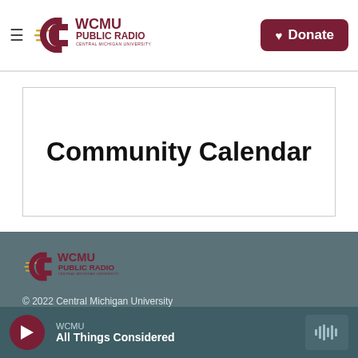WCMU Public Radio — Central Michigan University — Donate
Community Calendar
[Figure (logo): WCMU Public Radio logo with Central Michigan University flying C mark in footer]
© 2022 Central Michigan University
Contact
Privacy Policy
WCMU — All Things Considered